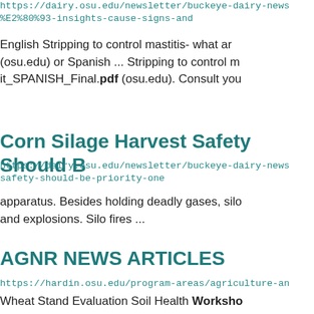https://dairy.osu.edu/newsletter/buckeye-dairy-news/%E2%80%93-insights-cause-signs-and
English Stripping to control mastitis- what ar... (osu.edu) or Spanish ... Stripping to control m... it_SPANISH_Final.pdf (osu.edu). Consult you
Corn Silage Harvest Safety Should Be
https://dairy.osu.edu/newsletter/buckeye-dairy-news/safety-should-be-priority-one
apparatus. Besides holding deadly gases, silo and explosions. Silo fires ...
AGNR NEWS ARTICLES
https://hardin.osu.edu/program-areas/agriculture-an
Wheat Stand Evaluation Soil Health Workshop